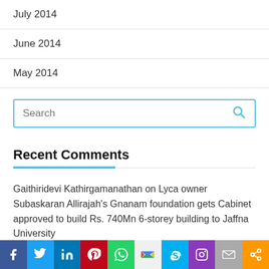July 2014
June 2014
May 2014
[Figure (screenshot): Search input box with blue border and blue magnifying glass icon]
Recent Comments
Gaithiridevi Kathirgamanathan on Lyca owner Subaskaran Allirajah's Gnanam foundation gets Cabinet approved to build Rs. 740Mn 6-storey building to Jaffna University
Date
[Figure (infographic): Social media sharing bar with icons: Facebook, Twitter, LinkedIn, Pinterest, WhatsApp, Gmail, Skype, Instagram, Email, Share]